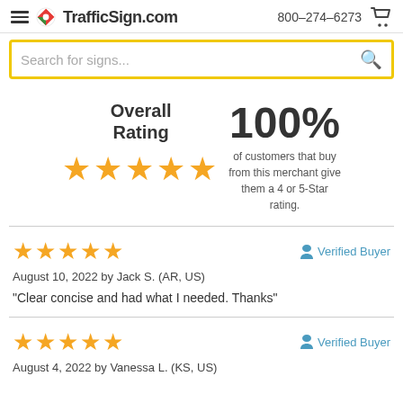TrafficSign.com  800-274-6273
Search for signs...
Overall Rating
100% of customers that buy from this merchant give them a 4 or 5-Star rating.
★★★★★ Verified Buyer
August 10, 2022 by Jack S. (AR, US)
"Clear concise and had what I needed. Thanks"
★★★★★ Verified Buyer
August 4, 2022 by Vanessa L. (KS, US)